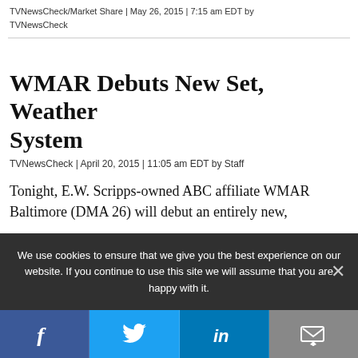TVNewsCheck/Market Share | May 26, 2015 | 7:15 am EDT by TVNewsCheck
WMAR Debuts New Set, Weather System
TVNewsCheck | April 20, 2015 | 11:05 am EDT by Staff
Tonight, E.W. Scripps-owned ABC affiliate WMAR Baltimore (DMA 26) will debut an entirely new,
We use cookies to ensure that we give you the best experience on our website. If you continue to use this site we will assume that you are happy with it.